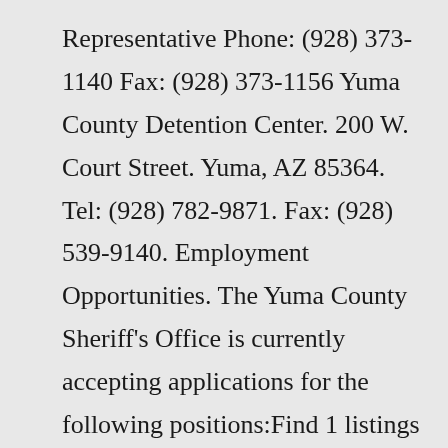Representative Phone: (928) 373-1140 Fax: (928) 373-1156 Yuma County Detention Center. 200 W. Court Street. Yuma, AZ 85364. Tel: (928) 782-9871. Fax: (928) 539-9140. Employment Opportunities. The Yuma County Sheriff's Office is currently accepting applications for the following positions:Find 1 listings related to Correctional Officer Jobs in Yuma on YP.com. See reviews, photos, directions,